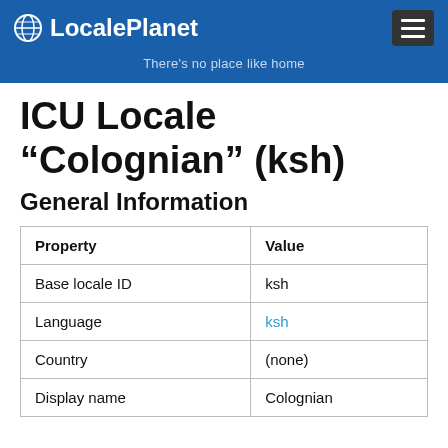LocalePlanet — There's no place like home
ICU Locale “Colognian” (ksh)
General Information
| Property | Value |
| --- | --- |
| Base locale ID | ksh |
| Language | ksh |
| Country | (none) |
| Display name | Colognian |